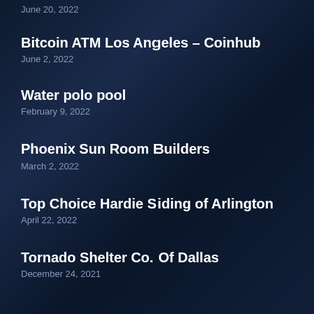June 20, 2022
Bitcoin ATM Los Angeles – Coinhub
June 2, 2022
Water polo pool
February 9, 2022
Phoenix Sun Room Builders
March 2, 2022
Top Choice Hardie Siding of Arlington
April 22, 2022
Tornado Shelter Co. Of Dallas
December 24, 2021